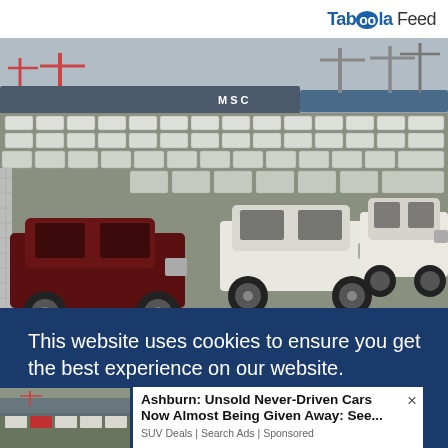Taboola Feed
[Figure (photo): Aerial view of a large car storage lot at a port, with hundreds of white and dark-colored Toyota FJ Cruiser SUVs parked in rows. Large cargo ships and cranes visible in the background.]
This website uses cookies to ensure you get the best experience on our website. Learn more
[Figure (photo): Thumbnail of the same car storage lot showing rows of SUVs at a port.]
Ashburn: Unsold Never-Driven Cars Now Almost Being Given Away: See... SUV Deals | Search Ads | Sponsored